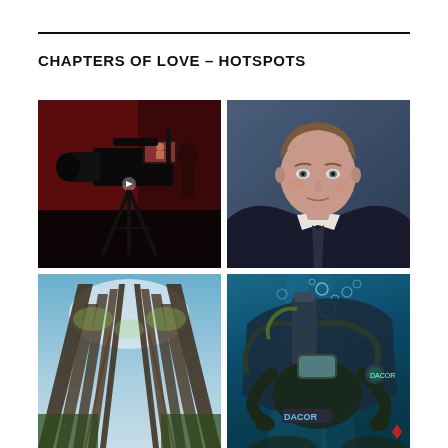CHAPTERS OF LOVE – HOTSPOTS
[Figure (photo): Silhouette of a professional video camera on a tripod in a studio with red background, a small monitor visible on the camera showing a person]
[Figure (photo): Professional headshot of a middle-aged man in a dark suit and tie, blue background]
[Figure (photo): Looking up through tall bare trees toward a blue sky, forest perspective from ground level]
[Figure (photo): Underwater photo of scuba diver with diving equipment and bubbles, teal/blue water]